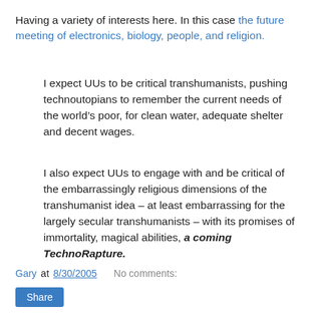Having a variety of interests here. In this case the future meeting of electronics, biology, people, and religion.
I expect UUs to be critical transhumanists, pushing technoutopians to remember the current needs of the world’s poor, for clean water, adequate shelter and decent wages.
I also expect UUs to engage with and be critical of the embarrassingly religious dimensions of the transhumanist idea – at least embarrassing for the largely secular transhumanists – with its promises of immortality, magical abilities, a coming TechnoRapture.
Gary at 8/30/2005    No comments: